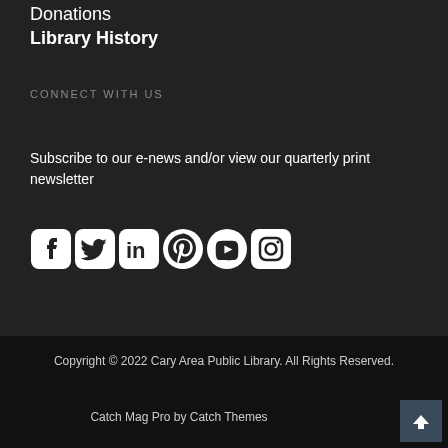Donations
Library History
CONNECT WITH US
Subscribe to our e-news and/or view our quarterly print newsletter
[Figure (infographic): Row of social media icons: Facebook, Twitter, LinkedIn, Pinterest, YouTube, Instagram]
Copyright © 2022 Cary Area Public Library. All Rights Reserved.
Catch Mag Pro by Catch Themes